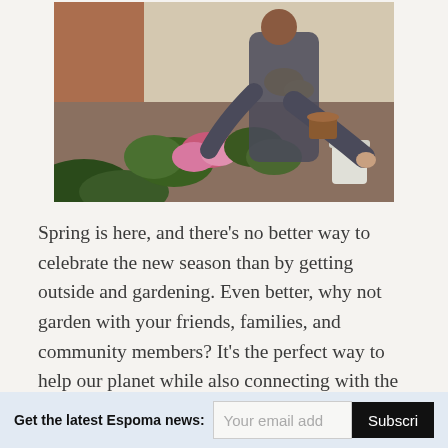[Figure (photo): Two people gardening outdoors near a brick wall, arranging colorful flowers including pink and yellow blooms in pots and on the ground.]
Spring is here, and there’s no better way to celebrate the new season than by getting outside and gardening. Even better, why not garden with your friends, families, and community members? It’s the perfect way to help our planet while also connecting with the people closest in your life. Don’t believe it? Here’s why gardening with other people should be at
Get the latest Espoma news:  Your email add  Subscri